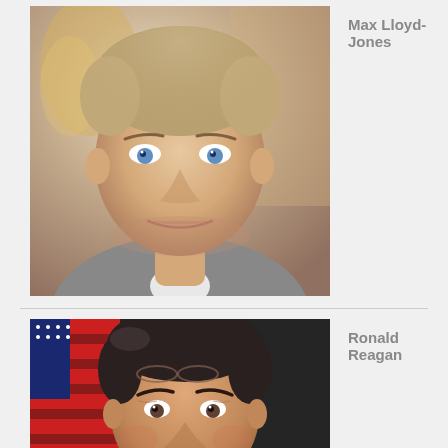[Figure (photo): Portrait photo of Max Lloyd-Jones, a young man with light brown hair and blue eyes, wearing a grey suit with white shirt, smiling slightly. Background has golden/warm elements.]
Max Lloyd-Jones
[Figure (photo): Portrait photo of Ronald Reagan, older man with dark hair, smiling, with an American flag visible in the background.]
Ronald Reagan